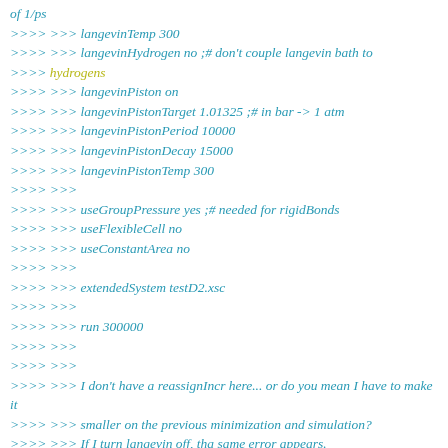of 1/ps
>>>> >>> langevinTemp 300
>>>> >>> langevinHydrogen no ;# don't couple langevin bath to
>>>> hydrogens
>>>> >>> langevinPiston on
>>>> >>> langevinPistonTarget 1.01325 ;# in bar -> 1 atm
>>>> >>> langevinPistonPeriod 10000
>>>> >>> langevinPistonDecay 15000
>>>> >>> langevinPistonTemp 300
>>>> >>>
>>>> >>> useGroupPressure yes ;# needed for rigidBonds
>>>> >>> useFlexibleCell no
>>>> >>> useConstantArea no
>>>> >>>
>>>> >>> extendedSystem testD2.xsc
>>>> >>>
>>>> >>> run 300000
>>>> >>>
>>>> >>>
>>>> >>> I don't have a reassignIncr here... or do you mean I have to make it
>>>> >>> smaller on the previous minimization and simulation?
>>>> >>> If I turn langevin off, tha same error appears.
>>>> >>>
>>>> >>> Thank you very much for your answer.
>>>> >>>